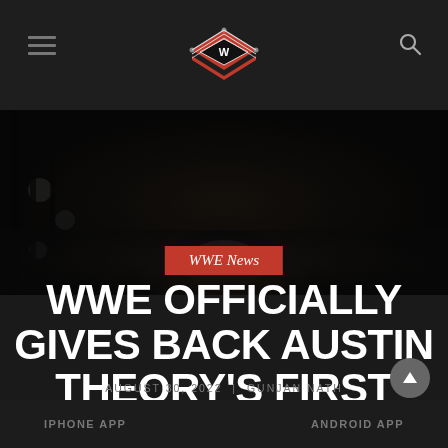WWE News website header with hamburger menu, logo, and search icon
[Figure (photo): Dark close-up photo of a person's lower face/chin against a dark background with blurred lights]
WWE News
WWE OFFICIALLY GIVES BACK AUSTIN THEORY'S FIRST NAME
AUGUST 30, 2022 | GUNJAN NATH
IPHONE APP   ANDROID APP